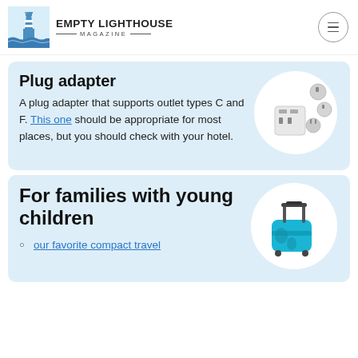EMPTY LIGHTHOUSE MAGAZINE
Plug adapter
A plug adapter that supports outlet types C and F. This one should be appropriate for most places, but you should check with your hotel.
[Figure (photo): Photo of a white plug adapter with multiple international outlet adapters]
For families with young children
[Figure (photo): Photo of a teal/blue children's ride-on luggage suitcase]
our favorite compact travel stroller